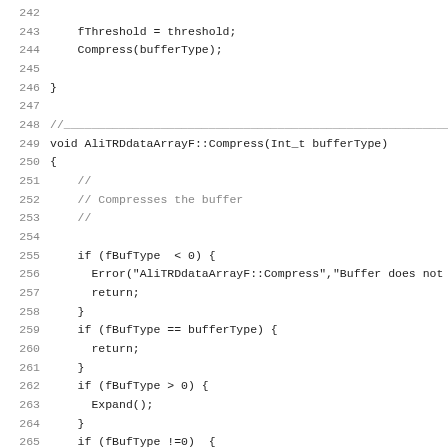Source code listing lines 242-274, showing C++ methods fThreshold assignment, Compress(bufferType) call, closing brace, and AliTRDdataArrayF::Compress function definition with buffer type checks and Compress1() call.